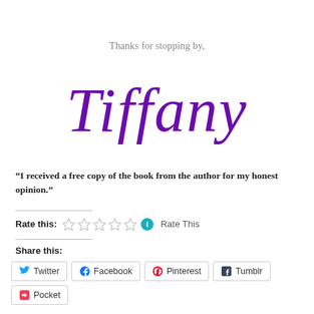Thanks for stopping by,
[Figure (illustration): Cursive signature reading 'Tiffany' in purple]
“I received a free copy of the book from the author for my honest opinion.”
Rate this: ☆☆☆☆☆ ℹ Rate This
Share this:
Twitter
Facebook
Pinterest
Tumblr
Pocket